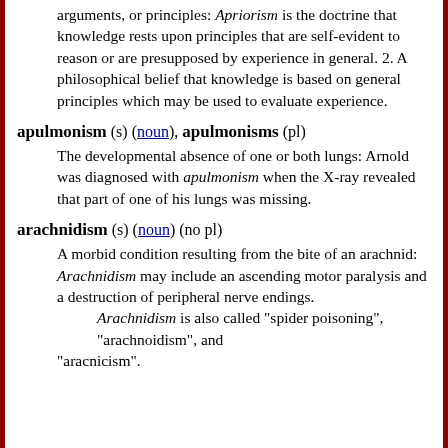arguments, or principles: Apriorism is the doctrine that knowledge rests upon principles that are self-evident to reason or are presupposed by experience in general. 2. A philosophical belief that knowledge is based on general principles which may be used to evaluate experience.
apulmonism (s) (noun), apulmonisms (pl) The developmental absence of one or both lungs: Arnold was diagnosed with apulmonism when the X-ray revealed that part of one of his lungs was missing.
arachnidism (s) (noun) (no pl) A morbid condition resulting from the bite of an arachnid: Arachnidism may include an ascending motor paralysis and a destruction of peripheral nerve endings. Arachnidism is also called "spider poisoning", "arachnoidism", and "aracnicism".